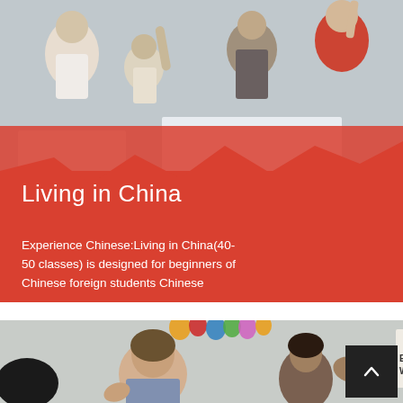[Figure (photo): Classroom photo showing students raising hands, viewed from behind, with a teacher at the front. Red/orange diagonal overlay covers the lower portion of the image transitioning into a solid red-orange section.]
Living in China
Experience Chinese:Living in China(40-50 classes) is designed for beginners of Chinese foreign students Chinese
Details ›
[Figure (photo): Second classroom photo showing young students, one boy prominently in the center, with colorful hand cutouts and a poster reading 'NO EXCUSE' on the wall in the background. A dark scroll-to-top button with a chevron arrow is overlaid on the bottom right.]